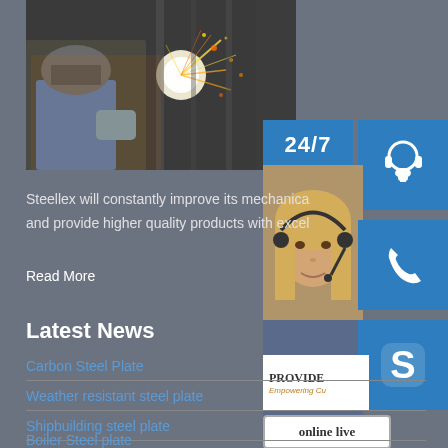[Figure (photo): A welder wearing protective gear sparking with bright welding light in industrial setting]
[Figure (infographic): Customer service panel with 24/7 label, headset icon, phone icon, Skype icon, customer service representative photo, PROVIDE/Empowering Customers text, and online live button]
Steellex will constantly improve its mechanical processing technology and provide higher quality products with excel
Read More
Latest News
Carbon Steel Plate
Weather resistant steel plate
Shipbuilding steel plate
Boiler Steel plate